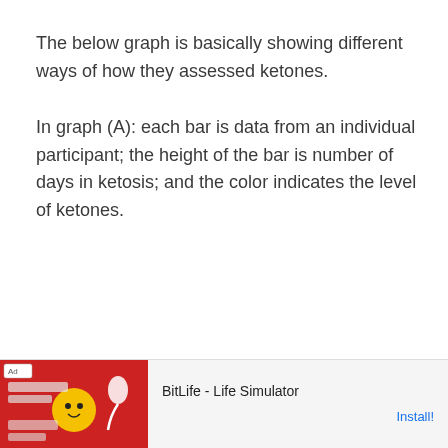The below graph is basically showing different ways of how they assessed ketones.

In graph (A): each bar is data from an individual participant; the height of the bar is number of days in ketosis; and the color indicates the level of ketones.
[Figure (infographic): Advertisement banner for BitLife - Life Simulator app showing a game screenshot on the left and the app name and Install button on the right.]